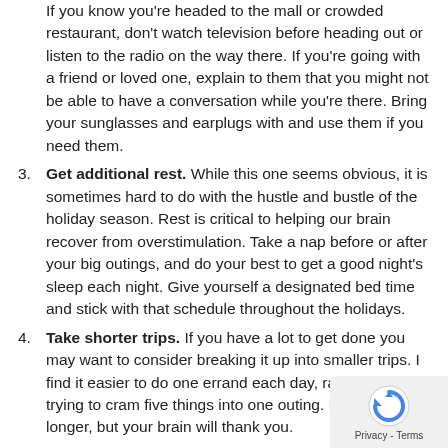If you know you're headed to the mall or crowded restaurant, don't watch television before heading out or listen to the radio on the way there. If you're going with a friend or loved one, explain to them that you might not be able to have a conversation while you're there. Bring your sunglasses and earplugs with and use them if you need them.
Get additional rest. While this one seems obvious, it is sometimes hard to do with the hustle and bustle of the holiday season. Rest is critical to helping our brain recover from overstimulation. Take a nap before or after your big outings, and do your best to get a good night's sleep each night. Give yourself a designated bed time and stick with that schedule throughout the holidays.
Take shorter trips. If you have a lot to get done you may want to consider breaking it up into smaller trips. I find it easier to do one errand each day, rather than trying to cram five things into one outing. It may take longer, but your brain will thank you.
Write Lists. I am the queen of sticky notes and shopping lists. Why add additional stress to the situation by going shopping without a clear list of where you need to go and